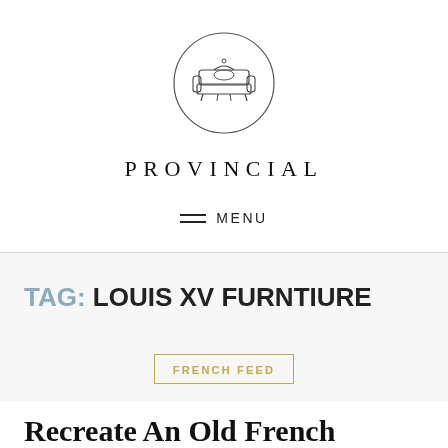[Figure (logo): Circular logo with an antique settee/sofa illustration inside a circle border]
PROVINCIAL
≡ MENU
TAG: LOUIS XV FURNTIURE
FRENCH FEED
RECREATE AN OLD FRENCH